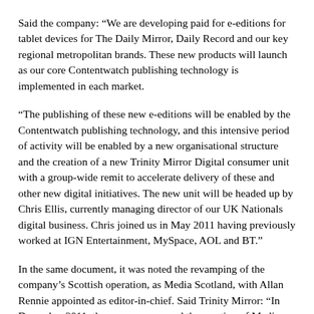Said the company: “We are developing paid for e-editions for tablet devices for The Daily Mirror, Daily Record and our key regional metropolitan brands. These new products will launch as our core Contentwatch publishing technology is implemented in each market.
“The publishing of these new e-editions will be enabled by the Contentwatch publishing technology, and this intensive period of activity will be enabled by a new organisational structure and the creation of a new Trinity Mirror Digital consumer unit with a group-wide remit to accelerate delivery of these and other new digital initiatives. The new unit will be headed up by Chris Ellis, currently managing director of our UK Nationals digital business. Chris joined us in May 2011 having previously worked at IGN Entertainment, MySpace, AOL and BT.”
In the same document, it was noted the revamping of the company’s Scottish operation, as Media Scotland, with Allan Rennie appointed as editor-in-chief. Said Trinity Mirror: “In December 2011, the group announced the creation of Media Scotland with the integration of the Scottish Daily Record and Sunday Mail and sister company, Scottish and Universal Newspapers, to form Scotland’s biggest publishing business.
“The portfolio of Media Scotland demonstrates that we are creating the…